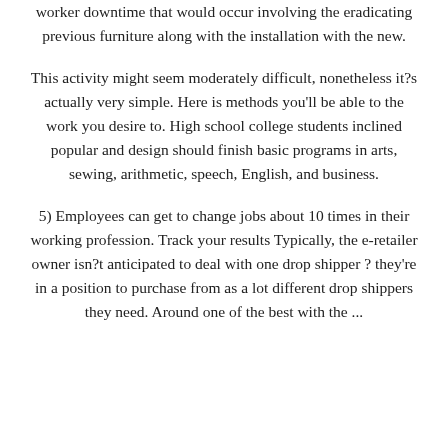worker downtime that would occur involving the eradicating previous furniture along with the installation with the new.
This activity might seem moderately difficult, nonetheless it?s actually very simple. Here is methods you'll be able to the work you desire to. High school college students inclined popular and design should finish basic programs in arts, sewing, arithmetic, speech, English, and business.
5) Employees can get to change jobs about 10 times in their working profession. Track your results Typically, the e-retailer owner isn?t anticipated to deal with one drop shipper ? they're in a position to purchase from as a lot different drop shippers they need. Around one of the best with the ...